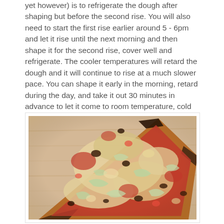yet however) is to refrigerate the dough after shaping but before the second rise. You will also need to start the first rise earlier around 5 - 6pm and let it rise until the next morning and then shape it for the second rise, cover well and refrigerate. The cooler temperatures will retard the dough and it will continue to rise at a much slower pace. You can shape it early in the morning, retard during the day, and take it out 30 minutes in advance to let it come to room temperature, cold dough will tear too easily.
[Figure (photo): A slice of pizza with tomato sauce, melted cheese, and various toppings including what appears to be onions and mushrooms, placed on a light wooden surface.]